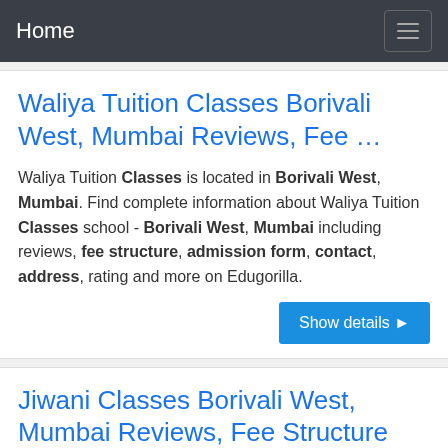Home
Waliya Tuition Classes Borivali West, Mumbai Reviews, Fee …
Waliya Tuition Classes is located in Borivali West, Mumbai. Find complete information about Waliya Tuition Classes school - Borivali West, Mumbai including reviews, fee structure, admission form, contact, address, rating and more on Edugorilla.
Jiwani Classes Borivali West, Mumbai Reviews, Fee Structure
Jiwani Classes is located in Borivali West, Mumbai. Find complete information about Jiwani Classes school -